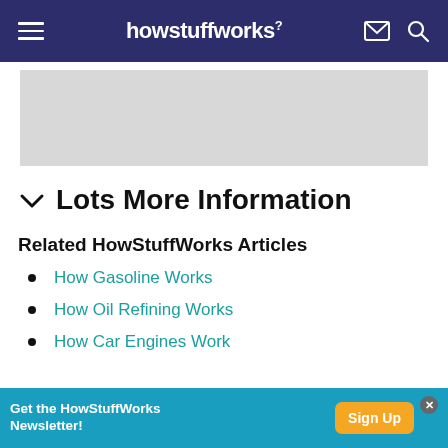howstuffworks
[Figure (photo): Gray placeholder image area]
Lots More Information
Related HowStuffWorks Articles
How Gasoline Works
How Oil Refining Works
How Car Engines Work
Get the HowStuffWorks Newsletter! Sign Up